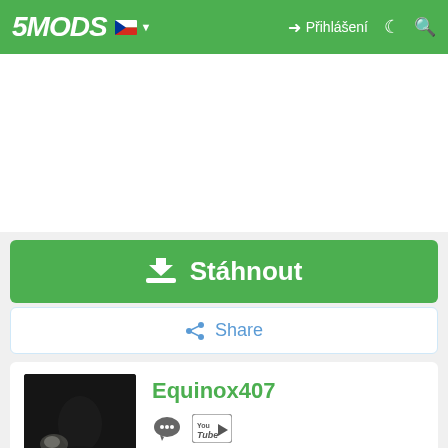5MODS — Přihlášení navigation bar
[Figure (screenshot): White advertisement space area]
Stáhnout
Share
Equinox407